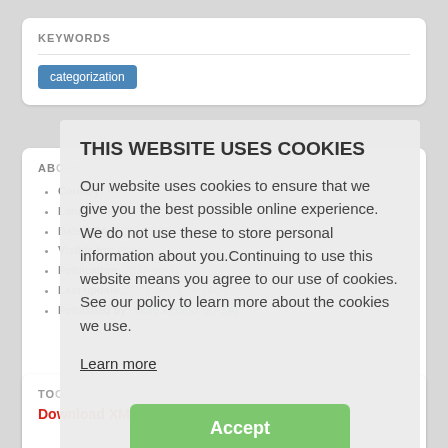KEYWORDS
categorization
ABOUT
Country: EU
Lang: English
Date PRA: 2022-05-17
Visible for: Public
Publication: 2022-06-21
Last update: 2022-06-21 08:24:26
Published by: Virag Kertesz (EFSA)
THIS WEBSITE USES COOKIES
Our website uses cookies to ensure that we give you the best possible online experience. We do not use these to store personal information about you.Continuing to use this website means you agree to our use of cookies. See our policy to learn more about the cookies we use.
Learn more
Accept
TOOLS
Download XML